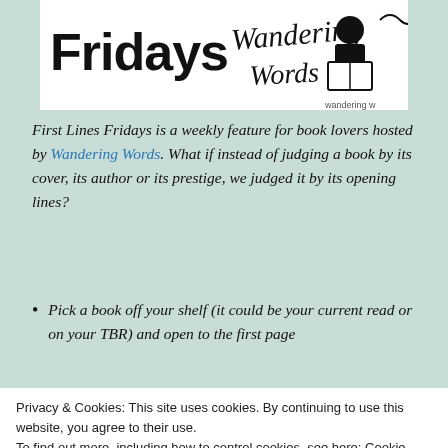[Figure (illustration): Banner image with 'Fridays Wandering Words' logo featuring illustrated character reading a book]
First Lines Fridays is a weekly feature for book lovers hosted by Wandering Words. What if instead of judging a book by its cover, its author or its prestige, we judged it by its opening lines?
Pick a book off your shelf (it could be your current read or on your TBR) and open to the first page
Copy the first few lines, but don't give anything else
Privacy & Cookies: This site uses cookies. By continuing to use this website, you agree to their use.
To find out more, including how to control cookies, see here: Cookie Policy
As darkness falls, a cloaked figure, hidden in the